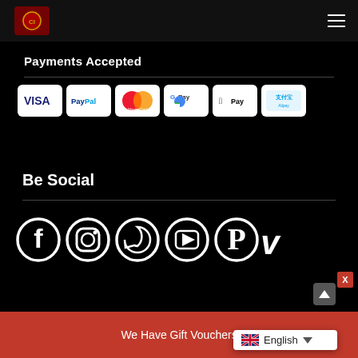Charlie Inn (logo) + hamburger menu
Payments Accepted
[Figure (logo): Payment method logos: VISA, PayPal, Mastercard, Google Pay, Apple Pay, Alipay]
Be Social
[Figure (infographic): Social media icons: Facebook, Instagram, WhatsApp, YouTube, Pinterest, Vimeo]
We Have Gift Vouchers
English (language selector with UK flag)